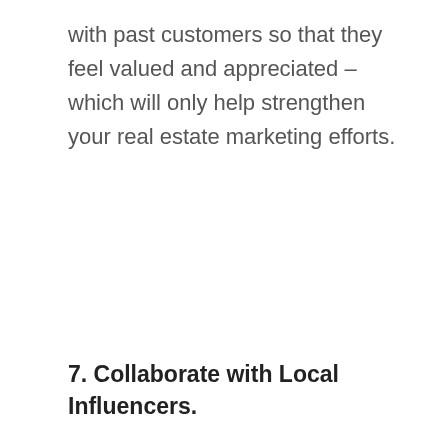with past customers so that they feel valued and appreciated – which will only help strengthen your real estate marketing efforts.
7. Collaborate with Local Influencers.